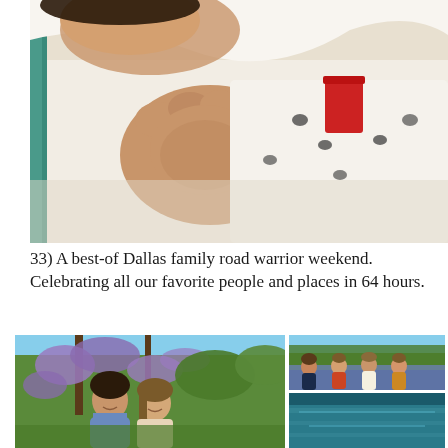[Figure (photo): Close-up photo of a newborn baby's hands clutched, wearing a white onesie with small printed designs and a red tag, wrapped in white blankets]
33) A best-of Dallas family road warrior weekend. Celebrating all our favorite people and places in 64 hours.
[Figure (photo): A couple smiling together outdoors surrounded by blooming wisteria with purple flowers and green foliage]
[Figure (photo): Four girls/young women sitting together in a field of bluebonnets with green trees behind them]
[Figure (photo): Partial view of what appears to be a teal/blue colored space, possibly a pool or architectural element]